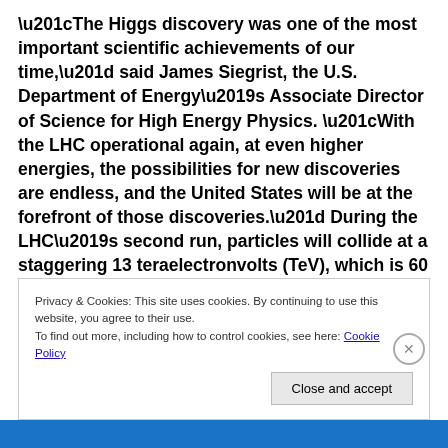“The Higgs discovery was one of the most important scientific achievements of our time,” said James Siegrist, the U.S. Department of Energy’s Associate Director of Science for High Energy Physics. “With the LHC operational again, at even higher energies, the possibilities for new discoveries are endless, and the United States will be at the forefront of those discoveries.” During the LHC’s second run, particles will collide at a staggering 13 teraelectronvolts (TeV), which is 60 percent higher than any accelerator has achieved before. The LHC’s four major particle
Privacy & Cookies: This site uses cookies. By continuing to use this website, you agree to their use.
To find out more, including how to control cookies, see here: Cookie Policy